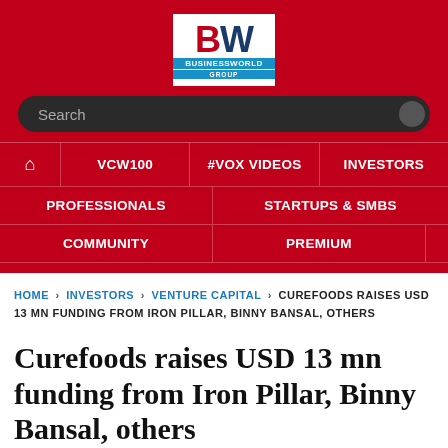[Figure (logo): BW Businessworld Group logo — white box with red BW letters and blue Businessworld Group banner]
Search
HOME | VCW100 | #VOX VIDEOS | INVESTORS | PROFESSIONALS | STARTUPS & SMBS | COMMUNITY | PREMIUM
HOME › INVESTORS › VENTURE CAPITAL › CUREFOODS RAISES USD 13 MN FUNDING FROM IRON PILLAR, BINNY BANSAL, OTHERS
Curefoods raises USD 13 mn funding from Iron Pillar, Binny Bansal, others